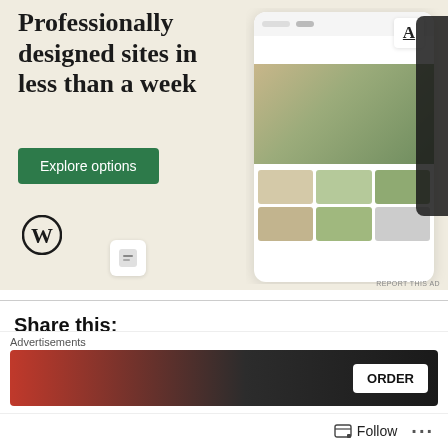[Figure (screenshot): WordPress advertisement banner: 'Professionally designed sites in less than a week' with Explore options button, WordPress logo, and website mockup screenshots on beige background]
REPORT THIS AD
Share this:
Print
Email
Twitter
Reddit
LinkedIn
Pinterest 2
Tumblr
Facebook
[Figure (screenshot): Bottom advertisement banner for food ordering with ORDER button on dark background]
Advertisements
Follow
...